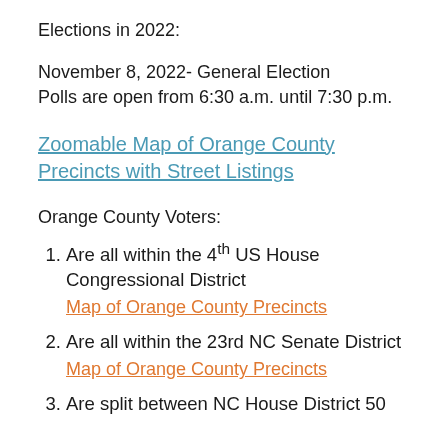Elections in 2022:
November 8, 2022- General Election
Polls are open from 6:30 a.m. until 7:30 p.m.
Zoomable Map of Orange County Precincts with Street Listings
Orange County Voters:
Are all within the 4th US House Congressional District
Map of Orange County Precincts
Are all within the 23rd NC Senate District
Map of Orange County Precincts
Are split between NC House District 50